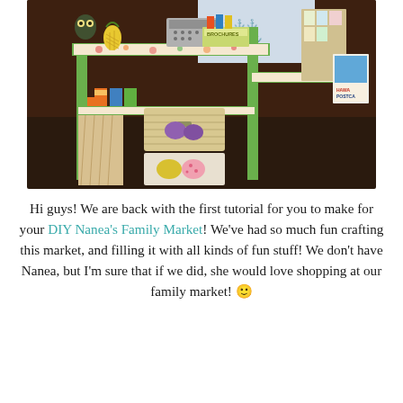[Figure (photo): A DIY miniature family market stand made from cardboard and craft supplies. The green shelf unit is decorated with a floral paper liner and contains small brochures, postcards, decorative eggs, a pineapple, a miniature cash register, bags, and a sign reading 'HAWA POSTCA'. A box labeled 'BROCHURES' is visible on the top shelf.]
Hi guys! We are back with the first tutorial for you to make for your DIY Nanea's Family Market! We've had so much fun crafting this market, and filling it with all kinds of fun stuff! We don't have Nanea, but I'm sure that if we did, she would love shopping at our family market! 🙂